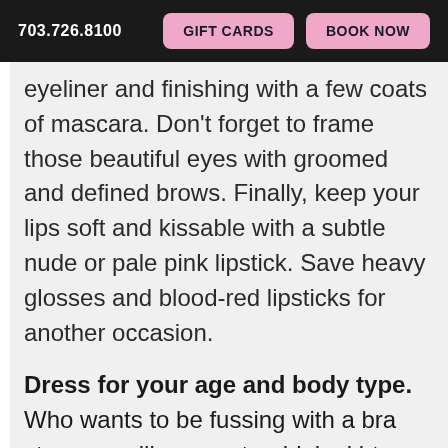703.726.8100  GIFT CARDS  BOOK NOW
eyeliner and finishing with a few coats of mascara. Don't forget to frame those beautiful eyes with groomed and defined brows. Finally, keep your lips soft and kissable with a subtle nude or pale pink lipstick. Save heavy glosses and blood-red lipsticks for another occasion.
Dress for your age and body type. Who wants to be fussing with a bra strap or pulling your too-high skirt down during a